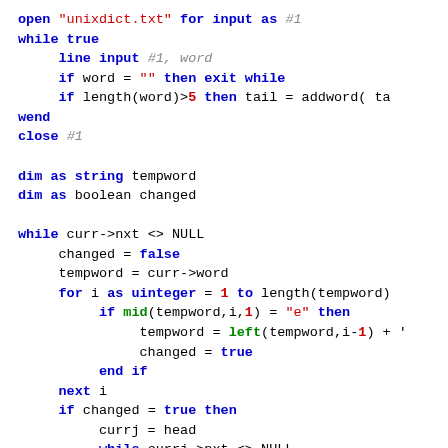[Figure (screenshot): Source code snippet in a BASIC-like language showing file input, linked list operations, and string manipulation with syntax highlighting. Keywords in blue bold, strings in red, function names in green bold.]